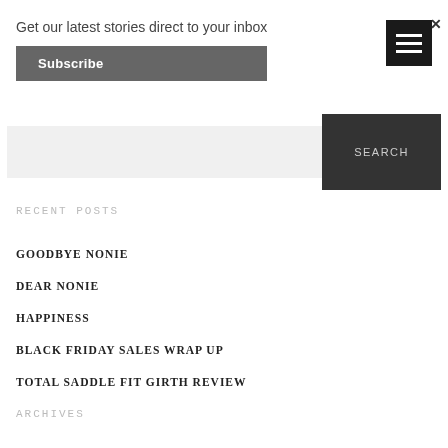Get our latest stories direct to your inbox
Subscribe
[Figure (illustration): Dark hamburger menu icon with three white horizontal lines and a close X mark in top right corner]
SEARCH
RECENT POSTS
GOODBYE NONIE
DEAR NONIE
HAPPINESS
BLACK FRIDAY SALES WRAP UP
TOTAL SADDLE FIT GIRTH REVIEW
ARCHIVES